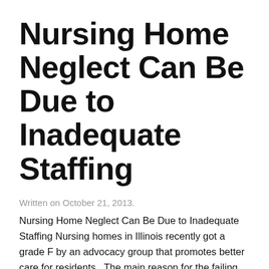Nursing Home Neglect Can Be Due to Inadequate Staffing
Written on October 21, 2013.
Nursing Home Neglect Can Be Due to Inadequate Staffing Nursing homes in Illinois recently got a grade F by an advocacy group that promotes better care for residents.  The main reason for the failing grade is that nursing homes in Illinois fail